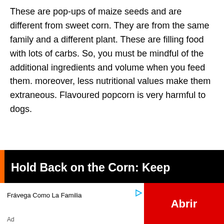These are pop-ups of maize seeds and are different from sweet corn. They are from the same family and a different plant. These are filling food with lots of carbs. So, you must be mindful of the additional ingredients and volume when you feed them. moreover, less nutritional values make them extraneous. Flavoured popcorn is very harmful to dogs.
[Figure (other): Advertisement banner with orange stripe on left, bold white text 'Hold Back on the Corn: Keep' on black background, below shows 'Frávega Como La Familia' brand name with play and close icons, and a red 'Abrir' button on the right. An 'Ad' label appears at bottom left.]